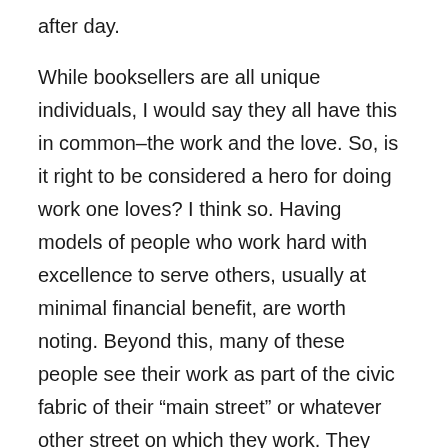after day.
While booksellers are all unique individuals, I would say they all have this in common–the work and the love. So, is it right to be considered a hero for doing work one loves? I think so. Having models of people who work hard with excellence to serve others, usually at minimal financial benefit, are worth noting. Beyond this, many of these people see their work as part of the civic fabric of their “main street” or whatever other street on which they work. They participate in community events. They host events from author appearances to readings for children. They